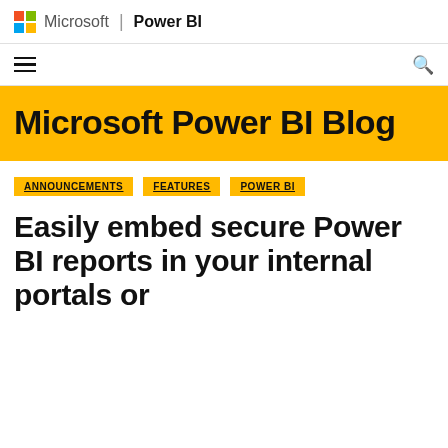Microsoft | Power BI
[Figure (logo): Microsoft logo with colorful grid and Power BI branding]
Microsoft Power BI Blog
ANNOUNCEMENTS
FEATURES
POWER BI
Easily embed secure Power BI reports in your internal portals or